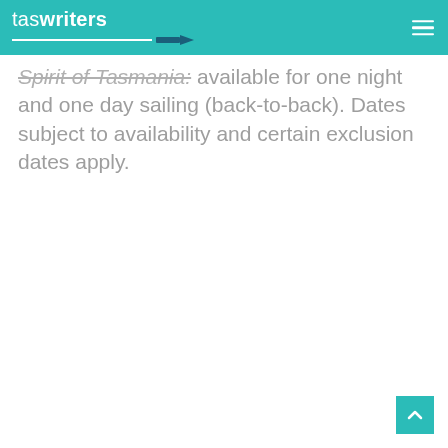taswriters
Spirit of Tasmania: available for one night and one day sailing (back-to-back). Dates subject to availability and certain exclusion dates apply.